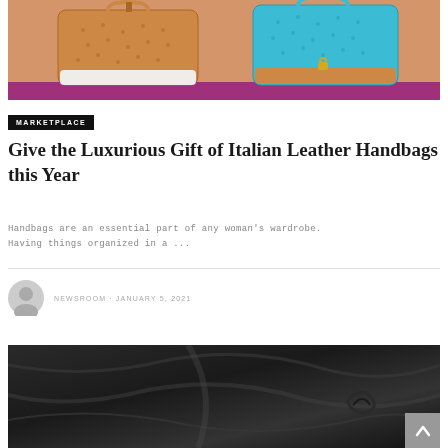[Figure (photo): Two luxury handbags side by side — one tan/brown and one turquoise — with ostrich-leather texture, displayed on a purple shelf background.]
MARKETPLACE
Give the Luxurious Gift of Italian Leather Handbags this Year
Handbags are an essential part of any woman's wardrobe. Having things organized in a ...
NEWSROOM · JANUARY 5, 2021
[Figure (photo): Close-up photo of dark charcoal/black leather fabric with folds and texture.]